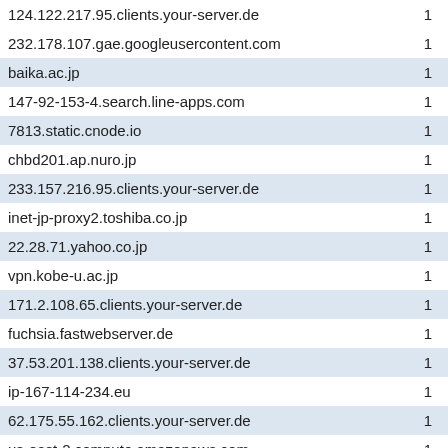| Domain | Count |
| --- | --- |
| 124.122.217.95.clients.your-server.de | 1 |
| 232.178.107.gae.googleusercontent.com | 1 |
| baika.ac.jp | 1 |
| 147-92-153-4.search.line-apps.com | 1 |
| 7813.static.cnode.io | 1 |
| chbd201.ap.nuro.jp | 1 |
| 233.157.216.95.clients.your-server.de | 1 |
| inet-jp-proxy2.toshiba.co.jp | 1 |
| 22.28.71.yahoo.co.jp | 1 |
| vpn.kobe-u.ac.jp | 1 |
| 171.2.108.65.clients.your-server.de | 1 |
| fuchsia.fastwebserver.de | 1 |
| 37.53.201.138.clients.your-server.de | 1 |
| ip-167-114-234.eu | 1 |
| 62.175.55.162.clients.your-server.de | 1 |
| us-east-2.compute.amazonaws.com | 1 |
| inet-jp-proxy1.toshiba.co.jp | 1 |
| 147.109.40.188.clients.your-server.de | 1 |
| kagoshima.ocn.ne.jp | 1 |
| auhw.ac.jp | 1 |
| a0e1.g.tyo1.static.cnode.io | 1 |